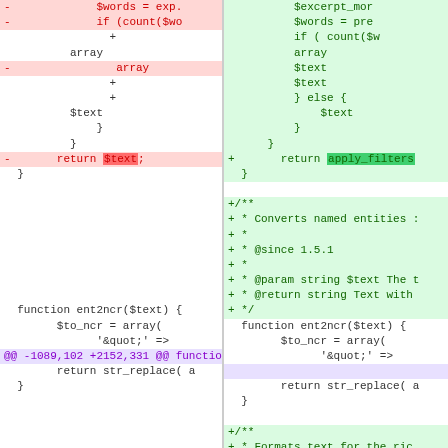[Figure (screenshot): Side-by-side diff view of PHP code showing removed lines (red, left) and added lines (green, right), with hunk headers in purple. Left column shows old code with deletions including 'return $text;'. Right column shows new code with additions including 'return apply_filters(', new PHPDoc comment blocks, and hunk headers. Both columns share context lines for function ent2ncr($text).]